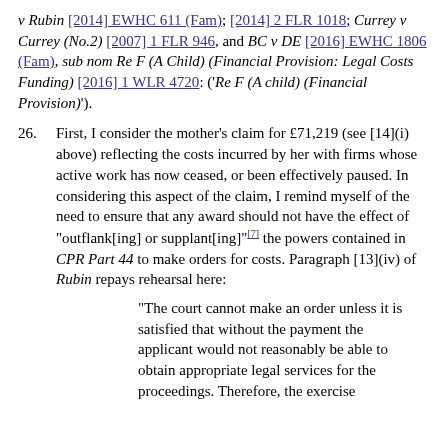v Rubin [2014] EWHC 611 (Fam); [2014] 2 FLR 1018; Currey v Currey (No.2) [2007] 1 FLR 946, and BC v DE [2016] EWHC 1806 (Fam), sub nom Re F (A Child) (Financial Provision: Legal Costs Funding) [2016] 1 WLR 4720: ('Re F (A child) (Financial Provision)').
26. First, I consider the mother's claim for £71,219 (see [14](i) above) reflecting the costs incurred by her with firms whose active work has now ceased, or been effectively paused. In considering this aspect of the claim, I remind myself of the need to ensure that any award should not have the effect of "outflank[ing] or supplant[ing]"[7] the powers contained in CPR Part 44 to make orders for costs. Paragraph [13](iv) of Rubin repays rehearsal here:
"The court cannot make an order unless it is satisfied that without the payment the applicant would not reasonably be able to obtain appropriate legal services for the proceedings. Therefore, the exercise